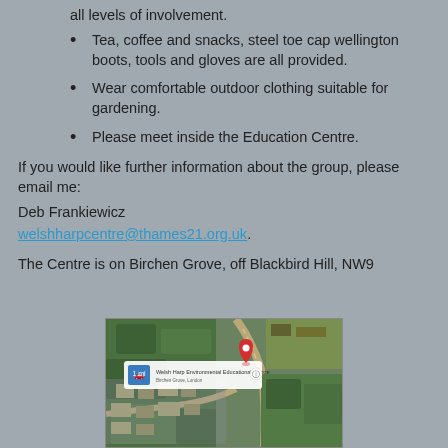all levels of involvement.
Tea, coffee and snacks, steel toe cap wellington boots, tools and gloves are all provided.
Wear comfortable outdoor clothing suitable for gardening.
Please meet inside the Education Centre.
If you would like further information about the group, please email me:
Deb Frankiewicz
welshharpcentre@thames21.org.uk.
The Centre is on Birchen Grove, off Blackbird Hill, NW9
[Figure (map): Google Maps satellite view of Welsh Harp Environmental Educational Centre, Birchen Grove, London, showing aerial view of the area with roads and green spaces.]